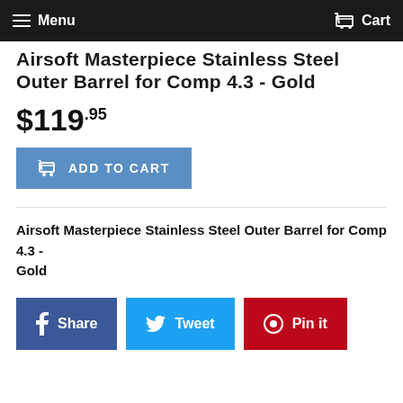Menu  Cart
Airsoft Masterpiece Stainless Steel Outer Barrel for Comp 4.3 - Gold
$119.95
[Figure (screenshot): ADD TO CART button in blue]
Airsoft Masterpiece Stainless Steel Outer Barrel for Comp 4.3 - Gold
[Figure (infographic): Social sharing buttons: Share (Facebook, dark blue), Tweet (Twitter, light blue), Pin it (Pinterest, red)]